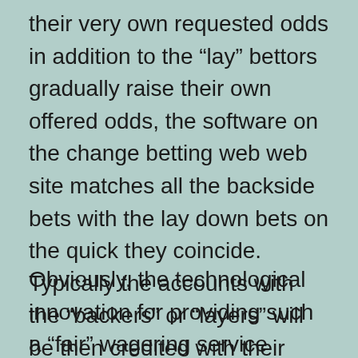their very own requested odds in addition to the “lay” bettors gradually raise their own offered odds, the software on the change betting web web site matches all the backside bets with the lay down bets on the quick they coincide. Typically the accounts with the “backers” or “layers” will be then credited with their winnings quickly a few moments after the finish of the event according to its end result.
Obviously, the technological innovation for providing such a “fair” wagering service should be paid for somehow. □□□□□□□□□□□□□10□□□□ of